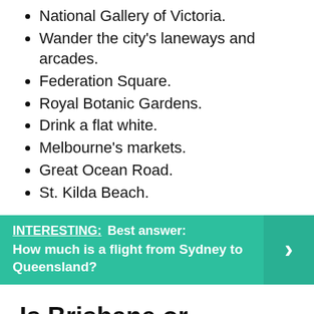National Gallery of Victoria.
Wander the city's laneways and arcades.
Federation Square.
Royal Botanic Gardens.
Drink a flat white.
Melbourne's markets.
Great Ocean Road.
St. Kilda Beach.
INTERESTING:  Best answer: How much is a flight from Sydney to Queensland?
Is Brisbane or Melbourne better?
Brisbane is better for beach lovers but